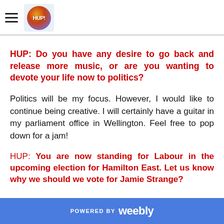HUP logo header with hamburger menu
HUP: Do you have any desire to go back and release more music, or are you wanting to devote your life now to politics?
Politics will be my focus. However, I would like to continue being creative. I will certainly have a guitar in my parliament office in Wellington. Feel free to pop down for a jam!
HUP: You are now standing for Labour in the upcoming election for Hamilton East. Let us know why we should we vote for Jamie Strange?
POWERED BY weebly